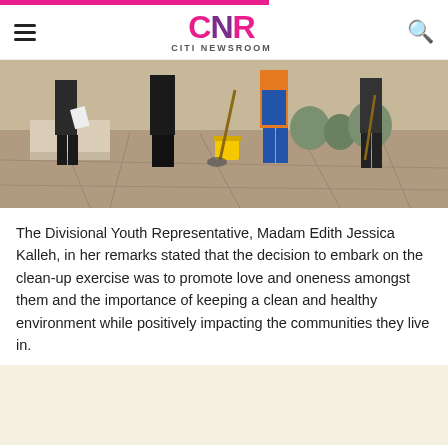CNR CITI NEWSROOM
[Figure (photo): People doing a clean-up exercise outdoors on a paved area, holding brooms and a yellow bucket. One person in orange high-visibility vest visible.]
The Divisional Youth Representative, Madam Edith Jessica Kalleh, in her remarks stated that the decision to embark on the clean-up exercise was to promote love and oneness amongst them and the importance of keeping a clean and healthy environment while positively impacting the communities they live in.